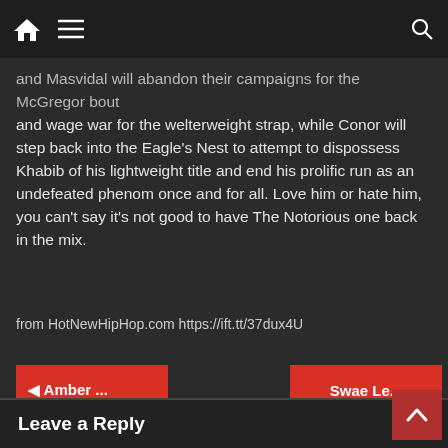Navigation bar with home, menu, and search icons
and Masvidal will abandon their campaigns for the McGregor bout and wage war for the welterweight strap, while Conor will step back into the Eagle's Nest to attempt to dispossess Khabib of his lightweight title and end his prolific run as an undefeated phenom once and for all. Love him or hate him, you can't say it's not good to have The Notorious one back in the mix.
from HotNewHipHop.com https://ift.tt/37dux4U
◄ Amber ...
Swae Le...
Leave a Reply